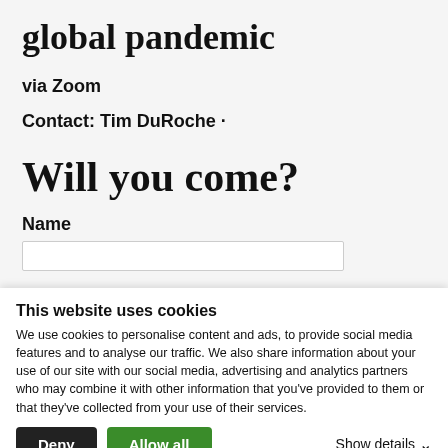global pandemic
via Zoom
Contact: Tim DuRoche ·
Will you come?
Name
This website uses cookies
We use cookies to personalise content and ads, to provide social media features and to analyse our traffic. We also share information about your use of our site with our social media, advertising and analytics partners who may combine it with other information that you've provided to them or that they've collected from your use of their services.
Deny
Allow all
Show details